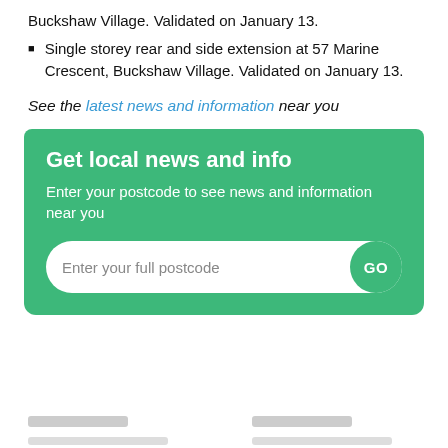Buckshaw Village. Validated on January 13.
Single storey rear and side extension at 57 Marine Crescent, Buckshaw Village. Validated on January 13.
See the latest news and information near you
[Figure (infographic): Green box with heading 'Get local news and info', subtitle 'Enter your postcode to see news and information near you', and a postcode input field with a GO button.]
[blurred footer content]